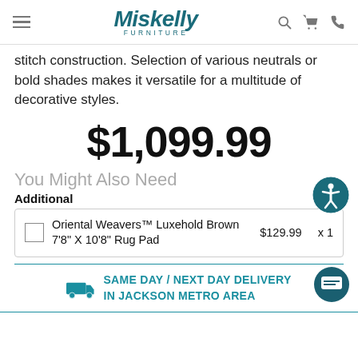Miskelly FURNITURE
stitch construction. Selection of various neutrals or bold shades makes it versatile for a multitude of decorative styles.
$1,099.99
You Might Also Need
Additional
|  | Product | Price | Qty |
| --- | --- | --- | --- |
| ☐ | Oriental Weavers™ Luxehold Brown 7'8" X 10'8" Rug Pad | $129.99 | x 1 |
SAME DAY / NEXT DAY DELIVERY IN JACKSON METRO AREA